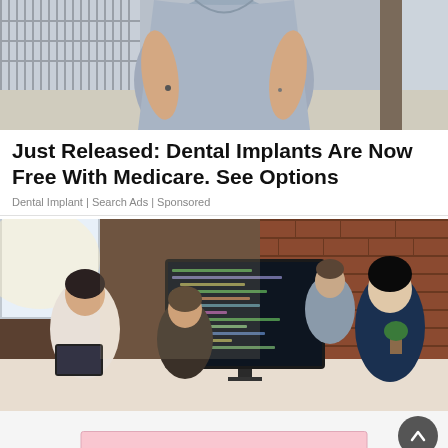[Figure (photo): Woman in light blue/grey top walking outdoors on sidewalk, cropped to torso, with fence and tree in background]
Just Released: Dental Implants Are Now Free With Medicare. See Options
Dental Implant | Search Ads | Sponsored
[Figure (photo): Group of young professionals in an office with exposed brick wall, working around a computer monitor displaying code; one person holds a tablet]
[Figure (photo): Advertisement banner with pink background showing text 'September 6th' and a child wearing red heart-shaped sunglasses]